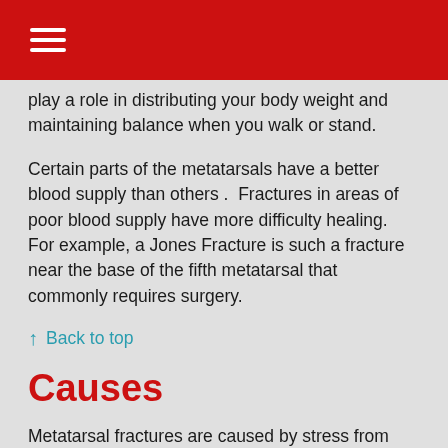play a role in distributing your body weight and maintaining balance when you walk or stand.
Certain parts of the metatarsals have a better blood supply than others .  Fractures in areas of poor blood supply have more difficulty healing.  For example, a Jones Fracture is such a fracture near the base of the fifth metatarsal that commonly requires surgery.
↑  Back to top
Causes
Metatarsal fractures are caused by stress from overuse, improper training, ankle twisting, or trauma.  Stress fractures are common in soccer